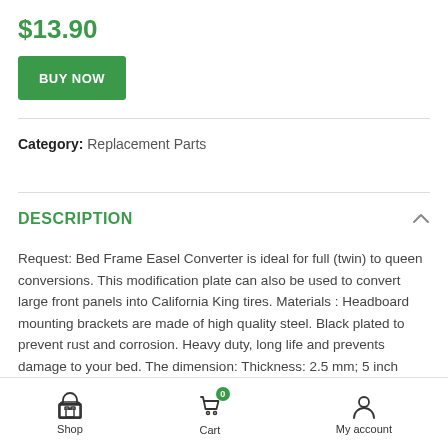$13.90
BUY NOW
Category: Replacement Parts
DESCRIPTION
Request: Bed Frame Easel Converter is ideal for full (twin) to queen conversions. This modification plate can also be used to convert large front panels into California King tires. Materials : Headboard mounting brackets are made of high quality steel. Black plated to prevent rust and corrosion. Heavy duty, long life and prevents damage to your bed. The dimension: Thickness: 2.5 mm; 5 inch width; Larger side: 5-1/3
Shop  Cart  My account